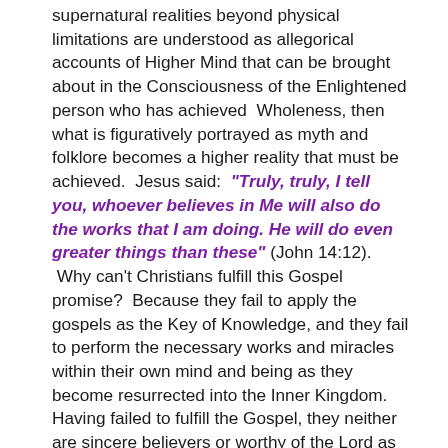supernatural realities beyond physical limitations are understood as allegorical accounts of Higher Mind that can be brought about in the Consciousness of the Enlightened person who has achieved Wholeness, then what is figuratively portrayed as myth and folklore becomes a higher reality that must be achieved. Jesus said: "Truly, truly, I tell you, whoever believes in Me will also do the works that I am doing. He will do even greater things than these" (John 14:12). Why can't Christians fulfill this Gospel promise? Because they fail to apply the gospels as the Key of Knowledge, and they fail to perform the necessary works and miracles within their own mind and being as they become resurrected into the Inner Kingdom. Having failed to fulfill the Gospel, they neither are sincere believers or worthy of the Lord as stated in the words: "And he who does not take his cross and follow after Me is not worthy of Me. He who finds his life will lose it, and he who loses his life for My sake will find it" (Matt 10:38-39). Having failed to fulfill the works and miracles within them, they are complacent and therefore not sincere believers.

The final product of re-engineered myths and folklore